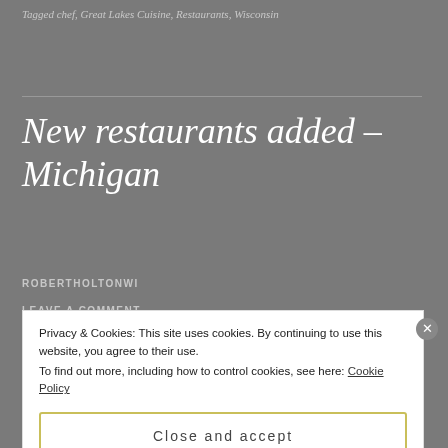Tagged chef, Great Lakes Cuisine, Restaurants, Wisconsin
New restaurants added – Michigan
ROBERTHOLTONWI
LEAVE A COMMENT
Privacy & Cookies: This site uses cookies. By continuing to use this website, you agree to their use.
To find out more, including how to control cookies, see here: Cookie Policy
Close and accept